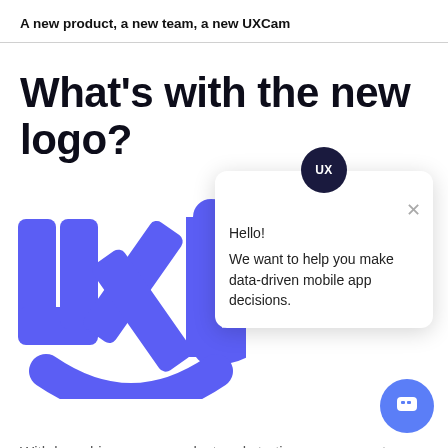A new product, a new team, a new UXCam
What's with the new logo?
[Figure (logo): UXCam logo in blue/purple color showing UXC letters with a smile shape, partially cropped]
[Figure (screenshot): Chat popup widget with UX avatar circle, close button, and message: Hello! We want to help you make data-driven mobile app decisions.]
With launching a new product and starting a new era at UXCam we decided that it's time to adapt our logo and our